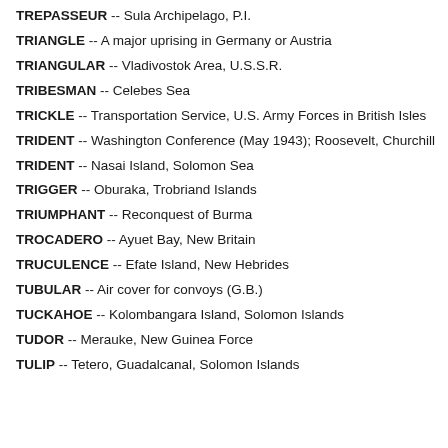TREPASSEUR -- Sula Archipelago, P.I.
TRIANGLE -- A major uprising in Germany or Austria
TRIANGULAR -- Vladivostok Area, U.S.S.R.
TRIBESMAN -- Celebes Sea
TRICKLE -- Transportation Service, U.S. Army Forces in British Isles
TRIDENT -- Washington Conference (May 1943); Roosevelt, Churchill
TRIDENT -- Nasai Island, Solomon Sea
TRIGGER -- Oburaka, Trobriand Islands
TRIUMPHANT -- Reconquest of Burma
TROCADERO -- Ayuet Bay, New Britain
TRUCULENCE -- Efate Island, New Hebrides
TUBULAR -- Air cover for convoys (G.B.)
TUCKAHOE -- Kolombangara Island, Solomon Islands
TUDOR -- Merauke, New Guinea Force
TULIP -- Tetero, Guadalcanal, Solomon Islands